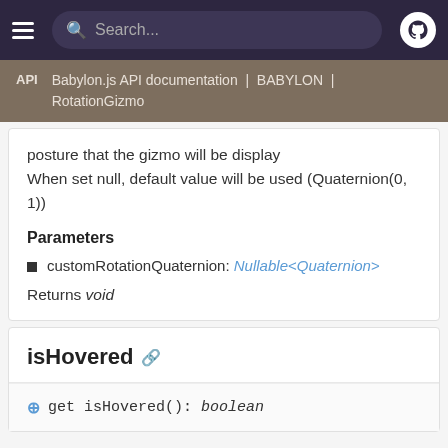Search...
API | Babylon.js API documentation | BABYLON | RotationGizmo
posture that the gizmo will be display When set null, default value will be used (Quaternion(0, 1))
Parameters
customRotationQuaternion: Nullable<Quaternion>
Returns void
isHovered
get isHovered(): boolean